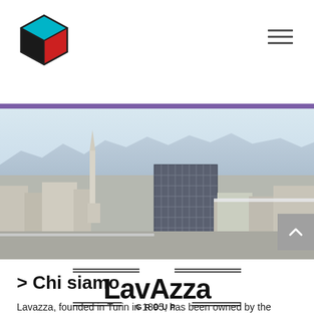Navigation header with cube logo and hamburger menu
[Figure (photo): Aerial/elevated cityscape photo of Turin, Italy, showing the Lavazza headquarters building (modern glass tower) and the city skyline including the Mole Antonelliana and mountains in background]
[Figure (logo): Lavazza Group logo in black — stylized text reading LavAzza with decorative horizontal lines above and below, and GROUP below]
> Chi siamo
Lavazza, founded in Turin in 1895, has been owned by the